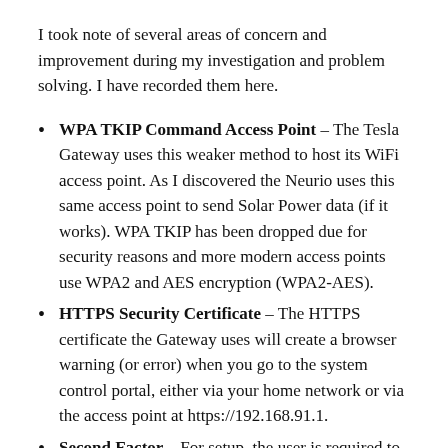I took note of several areas of concern and improvement during my investigation and problem solving. I have recorded them here.
WPA TKIP Command Access Point – The Tesla Gateway uses this weaker method to host its WiFi access point. As I discovered the Neurio uses this same access point to send Solar Power data (if it works). WPA TKIP has been dropped due for security reasons and more modern access points use WPA2 and AES encryption (WPA2-AES).
HTTPS Security Certificate – The HTTPS certificate the Gateway uses will create a browser warning (or error) when you go to the system control portal, either via your home network or via the access point at https://192.168.91.1.
Second Factor – For setup, the user is required to toggle the switch on a Powerwall as a 2nd factor to prove